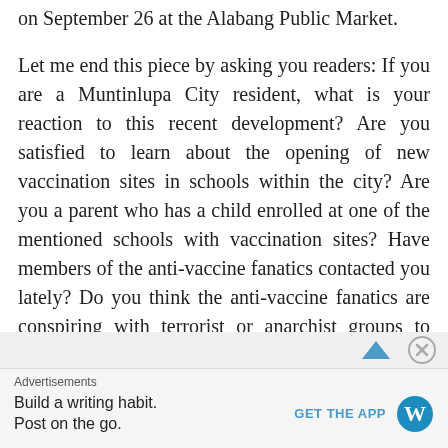on September 26 at the Alabang Public Market.
Let me end this piece by asking you readers: If you are a Muntinlupa City resident, what is your reaction to this recent development? Are you satisfied to learn about the opening of new vaccination sites in schools within the city? Are you a parent who has a child enrolled at one of the mentioned schools with vaccination sites? Have members of the anti-vaccine fanatics contacted you lately? Do you think the anti-vaccine fanatics are conspiring with terrorist or anarchist groups to worsen the COVID-19 situation all over the Philippines?
Advertisements
Build a writing habit. Post on the go.
GET THE APP